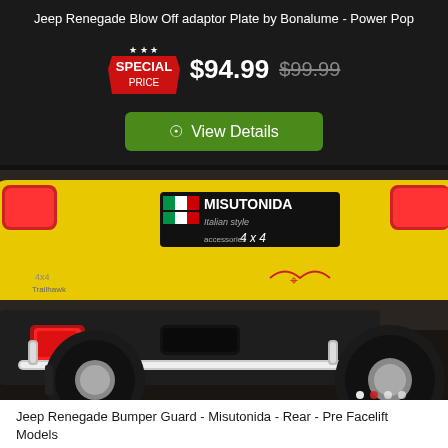Jeep Renegade Blow Off adaptor Plate by Bonalume - Power Pop
SPECIAL PRICE $94.99  $99.99
View Details
[Figure (photo): Rear view of a yellow Jeep Renegade with a Misutonida bumper guard bar, showing the license plate area with MISUTONIDA Italian style 4x4 accessories branding, red tail lights, and a chrome rear bumper guard bar]
Jeep Renegade Bumper Guard - Misutonida - Rear - Pre Facelift Models